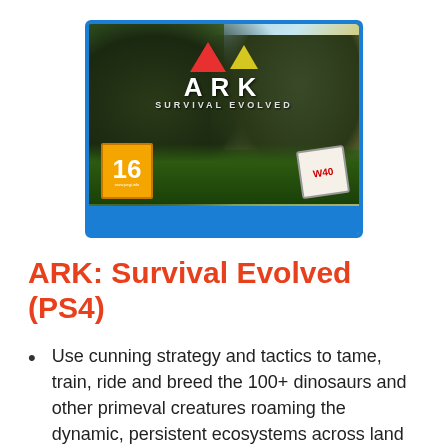[Figure (photo): ARK: Survival Evolved PS4 game cover showing dinosaurs in a jungle setting with the ARK logo, PEGI 16 rating badge, and a blue PS4 case border]
ARK: Survival Evolved (PS4)
Use cunning strategy and tactics to tame, train, ride and breed the 100+ dinosaurs and other primeval creatures roaming the dynamic, persistent ecosystems across land